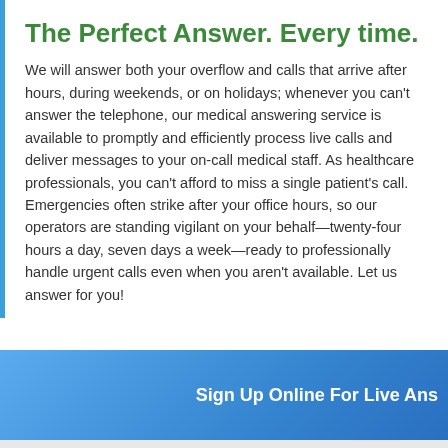The Perfect Answer. Every time.
We will answer both your overflow and calls that arrive after hours, during weekends, or on holidays; whenever you can't answer the telephone, our medical answering service is available to promptly and efficiently process live calls and deliver messages to your on-call medical staff. As healthcare professionals, you can't afford to miss a single patient's call. Emergencies often strike after your office hours, so our operators are standing vigilant on your behalf—twenty-four hours a day, seven days a week—ready to professionally handle urgent calls even when you aren't available. Let us answer for you!
Sign Up Online For Live Ans
Call 800-777-1564